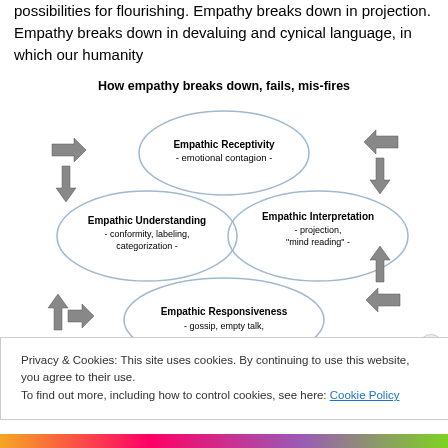possibilities for flourishing. Empathy breaks down in projection. Empathy breaks down in devaluing and cynical language, in which our humanity
[Figure (flowchart): Diagram titled 'How empathy breaks down, fails, mis-fires' showing three overlapping ellipses arranged in a triangular pattern. Top ellipse: 'Empathic Receptivity - emotional contagion -'. Bottom-left ellipse: 'Empathic Understanding - conformity, labeling, categorization -'. Bottom-right ellipse: 'Empathic Interpretation - projection, "mind reading" -'. Below center partially visible ellipse: 'Empathic Responsiveness - gossip, empty talk,'. Arrows pointing inward from four directions (left, right, bottom-left, bottom-right).]
Privacy & Cookies: This site uses cookies. By continuing to use this website, you agree to their use.
To find out more, including how to control cookies, see here: Cookie Policy
Close and accept